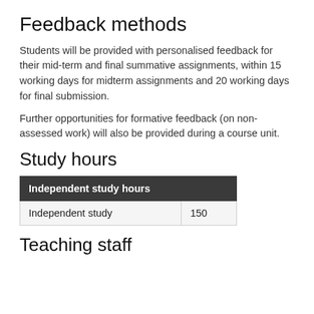Feedback methods
Students will be provided with personalised feedback for their mid-term and final summative assignments, within 15 working days for midterm assignments and 20 working days for final submission.
Further opportunities for formative feedback (on non-assessed work) will also be provided during a course unit.
Study hours
| Independent study hours |  |
| --- | --- |
| Independent study | 150 |
Teaching staff